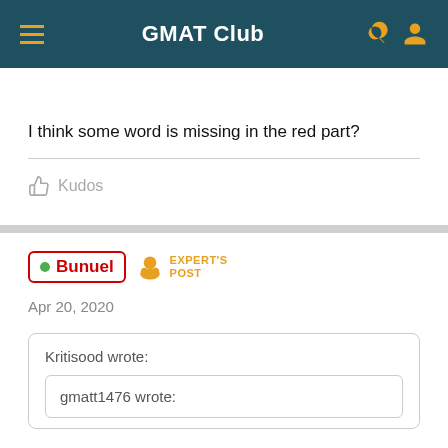GMAT Club
I think some word is missing in the red part?
Kudos
Bunuel  EXPERT'S POST
Apr 20, 2020
Kritisood wrote:
gmatt1476 wrote: